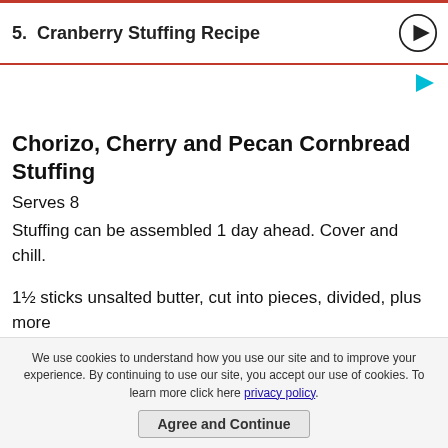5.  Cranberry Stuffing Recipe
Chorizo, Cherry and Pecan Cornbread Stuffing
Serves 8
Stuffing can be assembled 1 day ahead. Cover and chill.
1½ sticks unsalted butter, cut into pieces, divided, plus more
We use cookies to understand how you use our site and to improve your experience. By continuing to use our site, you accept our use of cookies. To learn more click here privacy policy.